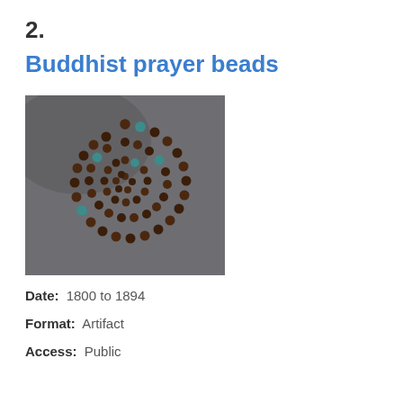2.
Buddhist prayer beads
[Figure (photo): Buddhist prayer beads arranged in a spiral on a grey background. Dark brown wooden beads with several turquoise accent beads spread throughout the strand.]
Date:  1800 to 1894
Format:  Artifact
Access:  Public